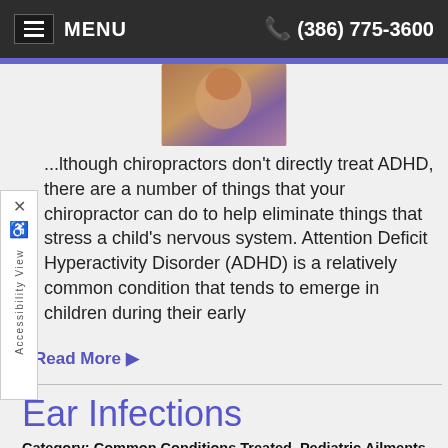MENU   (386) 775-3600
[Figure (photo): Photo of child partially visible at top center of page]
...lthough chiropractors don't directly treat ADHD, there are a number of things that your chiropractor can do to help eliminate things that stress a child's nervous system. Attention Deficit Hyperactivity Disorder (ADHD) is a relatively common condition that tends to emerge in children during their early
Read More ▶
Ear Infections
Category: Common Conditions Treated, Pediatric Ailments
[Figure (photo): Photo of a child with blonde hair, partially visible at bottom of page]